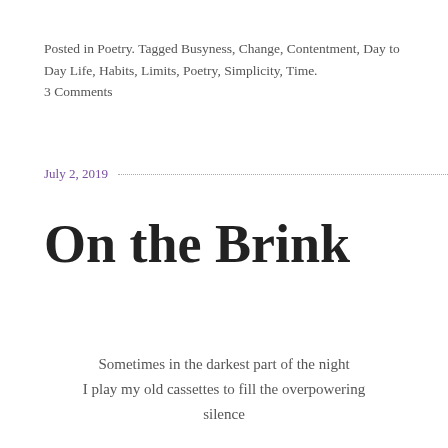Posted in Poetry. Tagged Busyness, Change, Contentment, Day to Day Life, Habits, Limits, Poetry, Simplicity, Time.
3 Comments
July 2, 2019
On the Brink
Sometimes in the darkest part of the night
I play my old cassettes to fill the overpowering silence